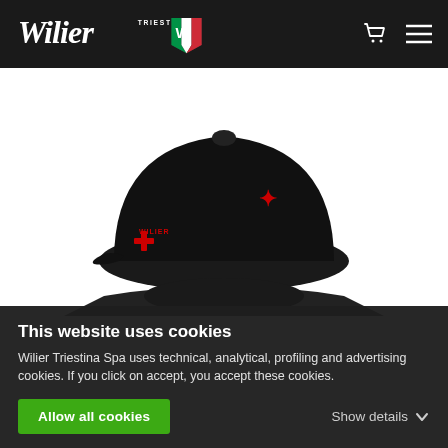[Figure (logo): Wilier Triestina logo in white script with Italian flag shield on black background]
[Figure (photo): Black Wilier Triestina branded snapback cap viewed from behind, showing red embroidered logos on black background]
This website uses cookies
Wilier Triestina Spa uses technical, analytical, profiling and advertising cookies. If you click on accept, you accept these cookies.
Allow all cookies
Show details